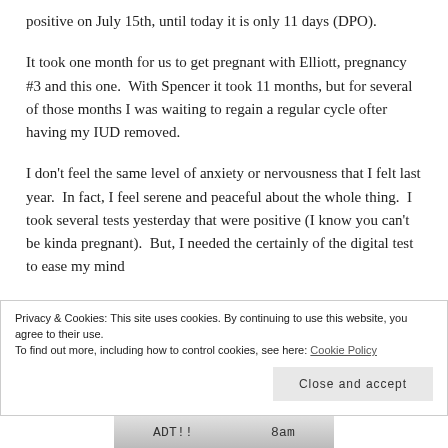positive on July 15th, until today it is only 11 days (DPO).
It took one month for us to get pregnant with Elliott, pregnancy #3 and this one.  With Spencer it took 11 months, but for several of those months I was waiting to regain a regular cycle ofter having my IUD removed.
I don't feel the same level of anxiety or nervousness that I felt last year.  In fact, I feel serene and peaceful about the whole thing.  I took several tests yesterday that were positive (I know you can't be kinda pregnant).  But, I needed the certainly of the digital test to ease my mind
Privacy & Cookies: This site uses cookies. By continuing to use this website, you agree to their use.
To find out more, including how to control cookies, see here: Cookie Policy
Close and accept
[Figure (photo): Bottom strip of an image showing handwritten text 'ADT!!' and '8AM']